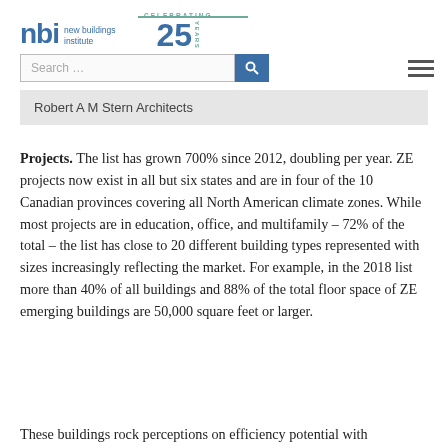nbi new buildings institute | Celebrating 25 Years
Robert A M Stern Architects
Projects. The list has grown 700% since 2012, doubling per year. ZE projects now exist in all but six states and are in four of the 10 Canadian provinces covering all North American climate zones. While most projects are in education, office, and multifamily – 72% of the total – the list has close to 20 different building types represented with sizes increasingly reflecting the market. For example, in the 2018 list more than 40% of all buildings and 88% of the total floor space of ZE emerging buildings are 50,000 square feet or larger.
These buildings rock perceptions on efficiency potential with